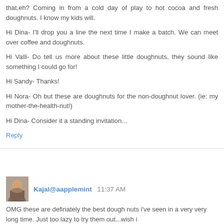that,eh? Coming in from a cold day of play to hot cocoa and fresh doughnuts. I know my kids will.
Hi Dina- I'll drop you a line the next time I make a batch. We can meet over coffee and doughnuts.
Hi Valli- Do tell us more about these little doughnuts, they sound like something I could go for!
Hi Sandy- Thanks!
Hi Nora- Oh but these are doughnuts for the non-doughnut lover. (ie: my mother-the-health-nut!)
Hi Dina- Consider it a standing invitation...
Reply
Kajal@aapplemint 11:37 AM
OMG these are definately the best dough nuts i've seen in a very very long time. Just too lazy to try them out...wish i